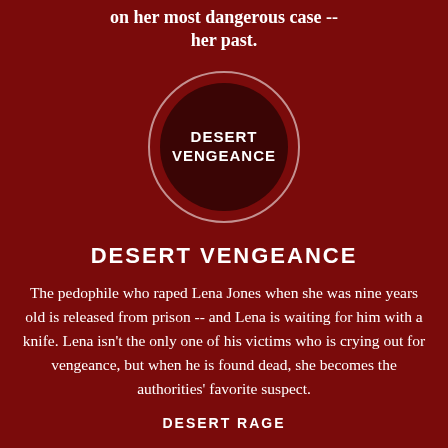on her most dangerous case -- her past.
[Figure (illustration): Dark red circle with white border containing bold white text 'DESERT VENGEANCE' on a dark maroon background]
DESERT VENGEANCE
The pedophile who raped Lena Jones when she was nine years old is released from prison -- and Lena is waiting for him with a knife. Lena isn't the only one of his victims who is crying out for vengeance, but when he is found dead, she becomes the authorities' favorite suspect.
DESERT RAGE